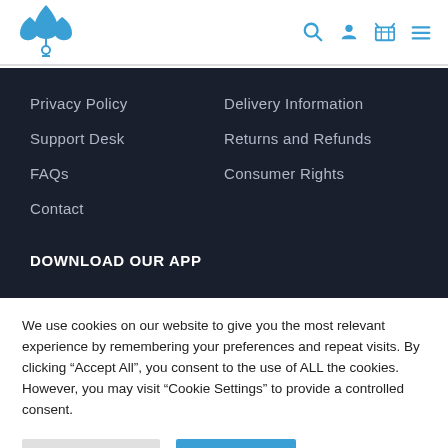[Figure (logo): Blue plant/leaf logo with female symbol beneath, website header logo]
[Figure (infographic): Navigation icons: search (magnifying glass), person/account, shopping basket, hamburger menu — all in blue]
Privacy Policy
Delivery Information
Support Desk
Returns and Refunds
FAQs
Consumer Rights
Contact
DOWNLOAD OUR APP
We use cookies on our website to give you the most relevant experience by remembering your preferences and repeat visits. By clicking “Accept All”, you consent to the use of ALL the cookies. However, you may visit “Cookie Settings” to provide a controlled consent.
Cookie Settings
Accept All